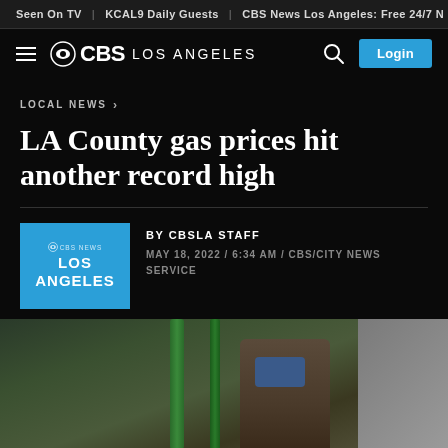Seen On TV | KCAL9 Daily Guests | CBS News Los Angeles: Free 24/7 N
[Figure (logo): CBS Los Angeles navigation header with hamburger menu, CBS eye logo, LOS ANGELES text, search icon, and Login button]
LOCAL NEWS >
LA County gas prices hit another record high
[Figure (logo): CBS News Los Angeles blue square logo]
BY CBSLA STAFF
MAY 18, 2022 / 6:34 AM / CBS/CITY NEWS SERVICE
[Figure (photo): Photo of a person wearing a blue face mask, shown from a distance, with green and metal background elements visible]